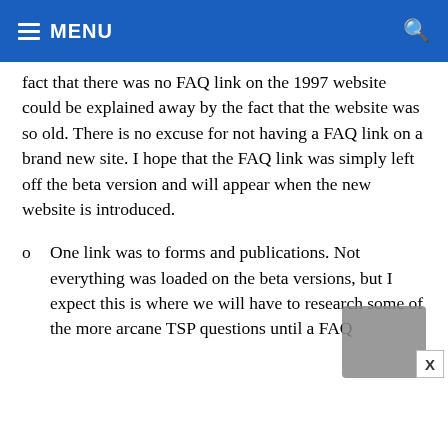≡ MENU
fact that there was no FAQ link on the 1997 website could be explained away by the fact that the website was so old. There is no excuse for not having a FAQ link on a brand new site. I hope that the FAQ link was simply left off the beta version and will appear when the new website is introduced.
One link was to forms and publications. Not everything was loaded on the beta versions, but I expect this is where we will have to research some of the more arcane TSP questions until a FAQ